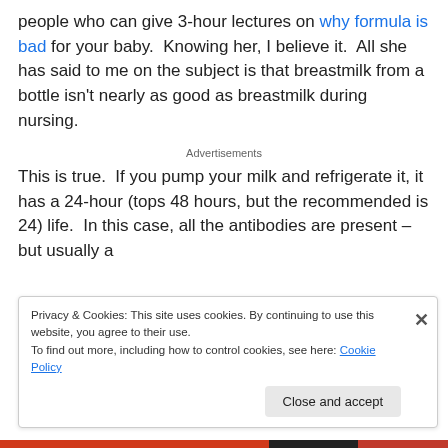people who can give 3-hour lectures on why formula is bad for your baby.  Knowing her, I believe it.  All she has said to me on the subject is that breastmilk from a bottle isn't nearly as good as breastmilk during nursing.
Advertisements
This is true.  If you pump your milk and refrigerate it, it has a 24-hour (tops 48 hours, but the recommended is 24) life.  In this case, all the antibodies are present – but usually a
Privacy & Cookies: This site uses cookies. By continuing to use this website, you agree to their use.
To find out more, including how to control cookies, see here: Cookie Policy
Close and accept